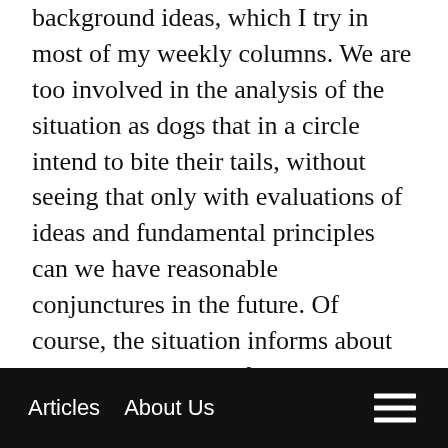background ideas, which I try in most of my weekly columns. We are too involved in the analysis of the situation as dogs that in a circle intend to bite their tails, without seeing that only with evaluations of ideas and fundamental principles can we have reasonable conjunctures in the future. Of course, the situation informs about what happened but if there is a total dedication to these events we will never leave the eggplant in which we are. The same can be said of the electoral processes, we are too aware of the polls without understanding that the results depend exclusively on the cultural battle. That is why the reason was attended by the Marxist Antonio Gramsci when he said “Take culture and education
Articles   About Us